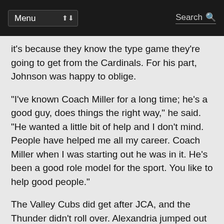Menu | Search
it's because they know the type game they're going to get from the Cardinals. For his part, Johnson was happy to oblige.
“I've known Coach Miller for a long time; he's a good guy, does things the right way," he said. “He wanted a little bit of help and I don't mind. People have helped me all my career. Coach Miller when I was starting out he was in it. He's been a good role model for the sport. You like to help good people."
The Valley Cubs did get after JCA, and the Thunder didn't roll over. Alexandria jumped out to an early 14-4 lead, but the Thunder turned four straight turnovers on the press into nine points to get within one. The Cubs then scored the next 17 points of the half and led by 22 at